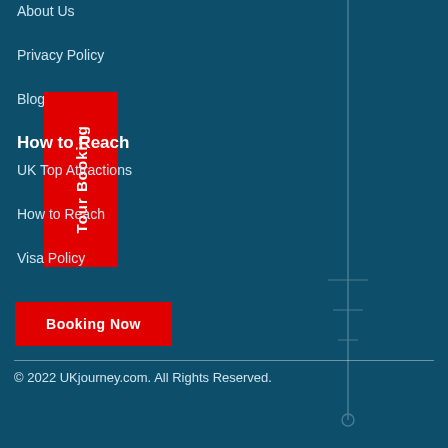About Us
Privacy Policy
Blogs
[Figure (other): Red vertical tab button with rotated text 'Tour Booking']
How to Reach
UK Top Attractions
How to Reach
Visa Policy
[Figure (other): Red 'Booking Now' button]
© 2022 UKjourney.com. All Rights Reserved.